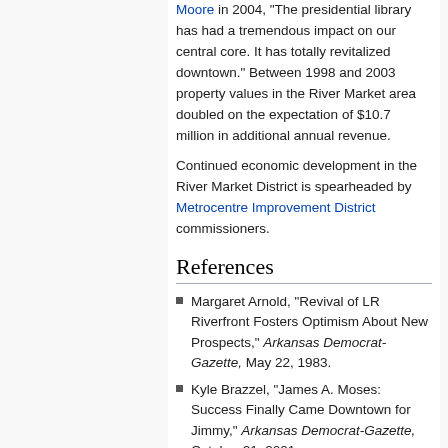Moore in 2004, "The presidential library has had a tremendous impact on our central core. It has totally revitalized downtown." Between 1998 and 2003 property values in the River Market area doubled on the expectation of $10.7 million in additional annual revenue.
Continued economic development in the River Market District is spearheaded by Metrocentre Improvement District commissioners.
References
Margaret Arnold, "Revival of LR Riverfront Fosters Optimism About New Prospects," Arkansas Democrat-Gazette, May 22, 1983.
Kyle Brazzel, "James A. Moses: Success Finally Came Downtown for Jimmy," Arkansas Democrat-Gazette, October 21, 2001.
Kyle Brazzel, "Taking Stock of the Market," Arkansas Democrat-Gazette, June 30, 2006.
"Clinton Library Jump-Starts Downtown